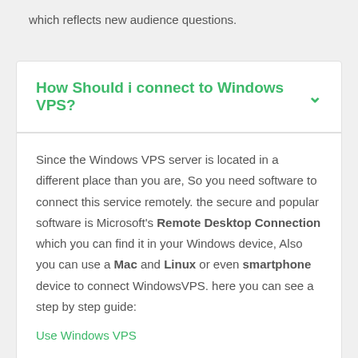which reflects new audience questions.
How Should i connect to Windows VPS?
Since the Windows VPS server is located in a different place than you are, So you need software to connect this service remotely. the secure and popular software is Microsoft's Remote Desktop Connection which you can find it in your Windows device, Also you can use a Mac and Linux or even smartphone device to connect WindowsVPS. here you can see a step by step guide:
Use Windows VPS